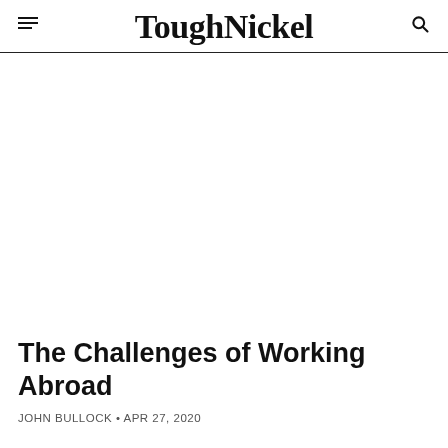ToughNickel
The Challenges of Working Abroad
JOHN BULLOCK • APR 27, 2020